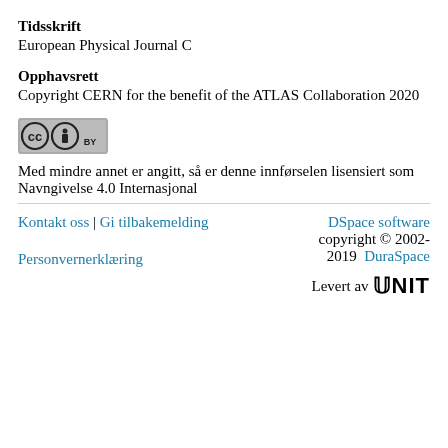Tidsskrift
European Physical Journal C
Opphavsrett
Copyright CERN for the benefit of the ATLAS Collaboration 2020
[Figure (logo): Creative Commons BY license logo]
Med mindre annet er angitt, så er denne innførselen lisensiert som Navngivelse 4.0 Internasjonal
Kontakt oss | Gi tilbakemelding   Personvernerklæring   DSpace software copyright © 2002-2019 DuraSpace   Levert av UNIT